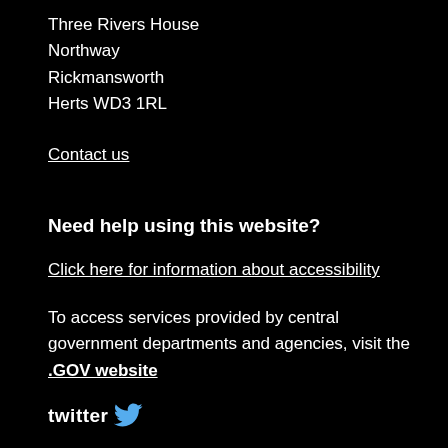Three Rivers House
Northway
Rickmansworth
Herts WD3 1RL
Contact us
Need help using this website?
Click here for information about accessibility
To access services provided by central government departments and agencies, visit the .GOV website
[Figure (logo): Twitter logo with bird icon]